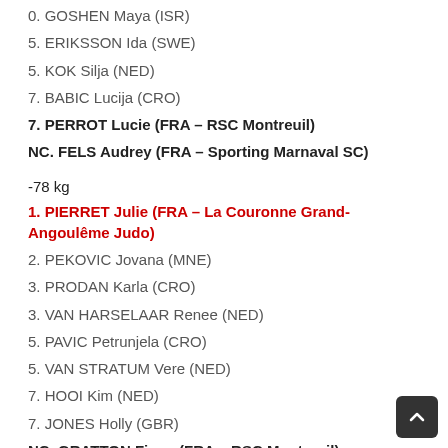0. GOSHEN Maya (ISR)
5. ERIKSSON Ida (SWE)
5. KOK Silja (NED)
7. BABIC Lucija (CRO)
7. PERROT Lucie (FRA – RSC Montreuil)
NC. FELS Audrey (FRA – Sporting Marnaval SC)
-78 kg
1. PIERRET Julie (FRA – La Couronne Grand-Angoulême Judo)
2. PEKOVIC Jovana (MNE)
3. PRODAN Karla (CRO)
3. VAN HARSELAAR Renee (NED)
5. PAVIC Petrunjela (CRO)
5. VAN STRATUM Vere (NED)
7. HOOI Kim (NED)
7. JONES Holly (GBR)
NC. GRATTON Fiona (FRA – RSC Montreuil)